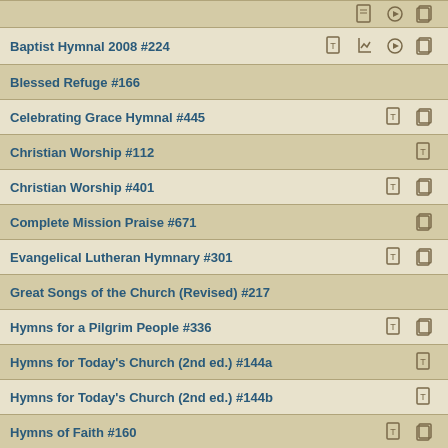Baptist Hymnal 2008 #224
Blessed Refuge #166
Celebrating Grace Hymnal #445
Christian Worship #112
Christian Worship #401
Complete Mission Praise #671
Evangelical Lutheran Hymnary #301
Great Songs of the Church (Revised) #217
Hymns for a Pilgrim People #336
Hymns for Today's Church (2nd ed.) #144a
Hymns for Today's Church (2nd ed.) #144b
Hymns of Faith #160
Hymns of the Christian Life #94
Hymns to the Living God #209
Lead Me, Guide Me (2nd ed.) #381
Lift Every Voice and Sing II #39